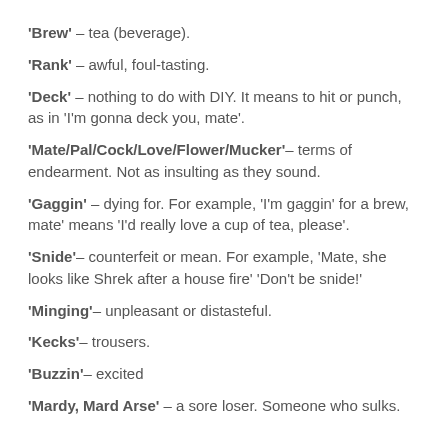'Brew' – tea (beverage).
'Rank' – awful, foul-tasting.
'Deck' – nothing to do with DIY. It means to hit or punch, as in 'I'm gonna deck you, mate'.
'Mate/Pal/Cock/Love/Flower/Mucker'– terms of endearment. Not as insulting as they sound.
'Gaggin' – dying for. For example, 'I'm gaggin' for a brew, mate' means 'I'd really love a cup of tea, please'.
'Snide'– counterfeit or mean. For example, 'Mate, she looks like Shrek after a house fire' 'Don't be snide!'
'Minging'– unpleasant or distasteful.
'Kecks'– trousers.
'Buzzin'– excited
'Mardy, Mard Arse' – a sore loser. Someone who sulks.